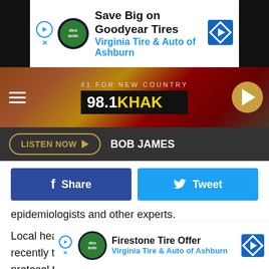[Figure (screenshot): Goodyear Tires advertisement banner - Save Big on Goodyear Tires, Virginia Tire & Auto of Ashburn]
[Figure (screenshot): 98.1 KHAK radio station header with logo, tagline #1 For New Country, hamburger menu, and play button]
[Figure (screenshot): Listen Now button bar with BOB JAMES DJ name on dark background]
[Figure (screenshot): Facebook Share and Twitter Tweet social media buttons]
epidemiologists and other experts.
Local health officials and other community leaders recently toured the facility to review the company's protocol to safely resume operations.
“It is my sincere hope that the Tyson Waterloo operations can once again find its footing and become a better, even more productive force for Black Hawk County businesses and communities,” said of
[Figure (screenshot): Firestone Tire Offer advertisement - Virginia Tire & Auto of Ashburn]